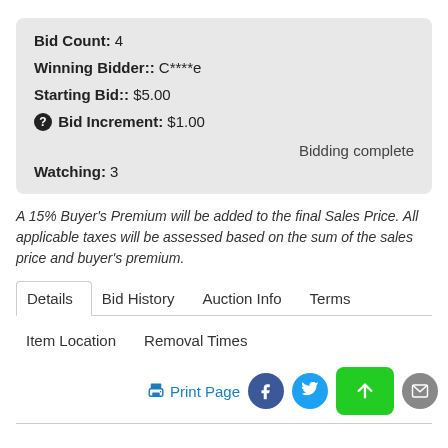Bid Count: 4
Winning Bidder:: C****e
Starting Bid:: $5.00
Bid Increment: $1.00
Bidding complete
Watching: 3
A 15% Buyer's Premium will be added to the final Sales Price. All applicable taxes will be assessed based on the sum of the sales price and buyer's premium.
Details   Bid History   Auction Info   Terms
Item Location   Removal Times
Print Page